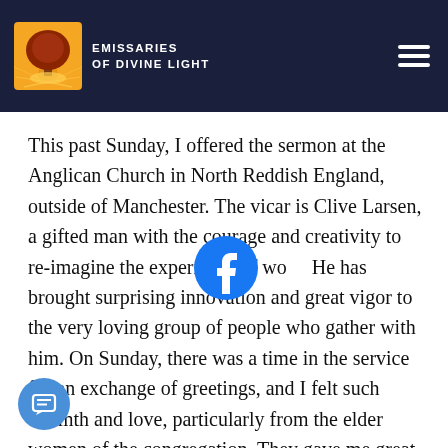Emissaries of Divine Light
This past Sunday, I offered the sermon at the Anglican Church in North Reddish England, outside of Manchester. The vicar is Clive Larsen, a gifted man with the courage and creativity to re-imagine the experience of wo[rship]. He has brought surprising innovation and great vigor to the very loving group of people who gather with him. On Sunday, there was a time in the service for an exchange of greetings, and I felt such warmth and love, particularly from the elder women of the congregation. They gave me great hugs and spoke to me, “Peace be with you,” with the rich accent of the people of Manchester. And my friend, Tessa Maskell,
[Figure (logo): Facebook icon overlay in center of text]
[Figure (illustration): Chat/message button in bottom left corner]